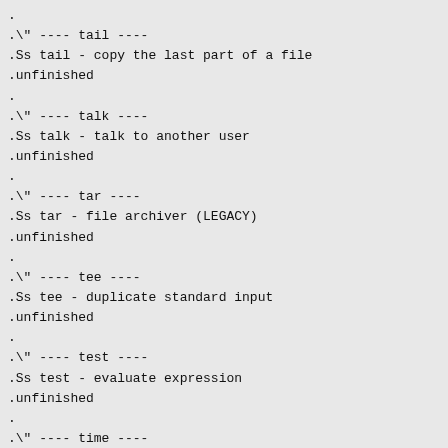.
.\" ---- tail ----
.Ss tail - copy the last part of a file
.unfinished
.
.\" ---- talk ----
.Ss talk - talk to another user
.unfinished
.
.\" ---- tar ----
.Ss tar - file archiver (LEGACY)
.unfinished
.
.\" ---- tee ----
.Ss tee - duplicate standard input
.unfinished
.
.\" ---- test ----
.Ss test - evaluate expression
.unfinished
.
.\" ---- time ----
.Ss time - time a simple command
.unfinished
.
.\" ---- touch ----
.Ss touch - change file access and modification times
.unfinished
.
.\" ---- tput ----